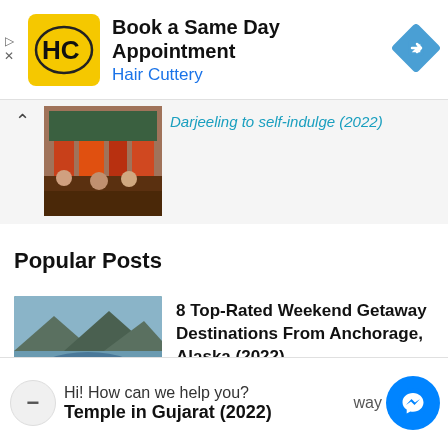[Figure (other): Hair Cuttery advertisement banner with yellow logo, 'Book a Same Day Appointment' headline, 'Hair Cuttery' subtext in blue, and a blue navigation diamond icon]
Darjeeling to self-indulge (2022)
[Figure (photo): Colorful market stalls in Darjeeling with people and goods]
Popular Posts
[Figure (photo): Aerial view of Anchorage Alaska landscape with lake and mountains]
8 Top-Rated Weekend Getaway Destinations From Anchorage, Alaska (2022)
Hi! How can we help you?
Temple in Gujarat (2022)